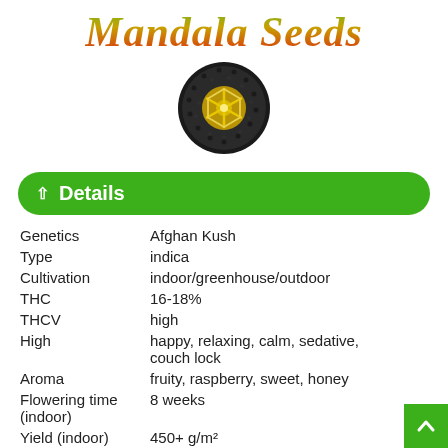Mandala Seeds
[Figure (logo): Circular logo of Mandala Seeds: dark seed-covered circle with a yellow geometric snowflake/mandala pattern in the center]
^ Details
| Field | Value |
| --- | --- |
| Genetics | Afghan Kush |
| Type | indica |
| Cultivation | indoor/greenhouse/outdoor |
| THC | 16-18% |
| THCV | high |
| High | happy, relaxing, calm, sedative, couch lock |
| Aroma | fruity, raspberry, sweet, honey |
| Flowering time (indoor) | 8 weeks |
| Yield (indoor) | 450+ g/m2 |